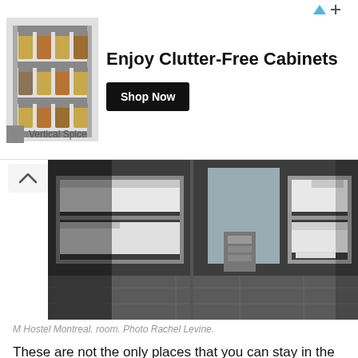[Figure (infographic): Advertisement banner for Vertical Spice clutter-free cabinets showing a spice rack organizer image, bold headline 'Enjoy Clutter-Free Cabinets', a 'Shop Now' button, and the brand name 'Vertical Spice']
[Figure (photo): Interior photo of M Hostel Montreal room showing multiple bunk beds with metal frames, white bedding, tiled floor, and window with street view]
M Hostel Montreal. room. Photo Rachel Levine.
These are not the only places that you can stay in the city. You can also rent on Air BNB  if you want to rent someone's apartment for less than the average hotel room! Since Montreal's metro is easy to use and not that big, almost anything within walking distance of a metro station is a fine